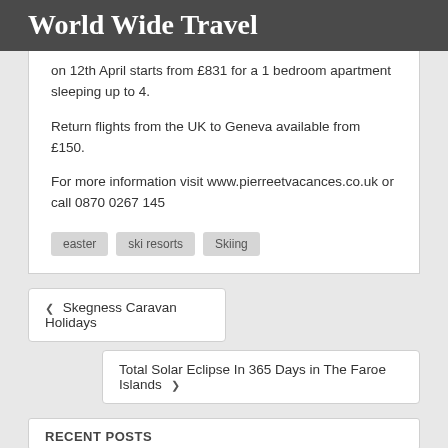World Wide Travel
on 12th April starts from £831 for a 1 bedroom apartment sleeping up to 4.
Return flights from the UK to Geneva available from £150.
For more information visit www.pierreetvacances.co.uk or call 0870 0267 145
easter
ski resorts
Skiing
❮ Skegness Caravan Holidays
Total Solar Eclipse In 365 Days in The Faroe Islands ❯
RECENT POSTS